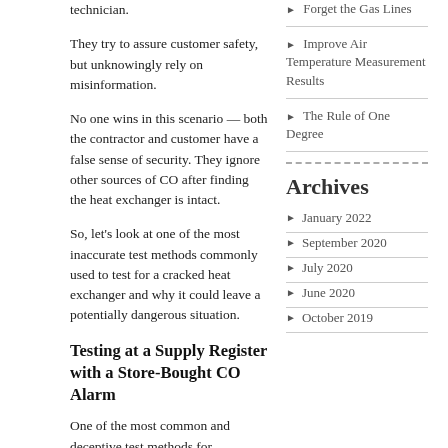technician.
They try to assure customer safety, but unknowingly rely on misinformation.
No one wins in this scenario — both the contractor and customer have a false sense of security. They ignore other sources of CO after finding the heat exchanger is intact.
So, let's look at one of the most inaccurate test methods commonly used to test for a cracked heat exchanger and why it could leave a potentially dangerous situation.
Testing at a Supply Register with a Store-Bought CO Alarm
One of the most common and deceptive test methods for determining heat exchanger integrity is placing a store bought carbon monoxide alarm on a supply register to see if it displays a CO reading.
Forget the Gas Lines
Improve Air Temperature Measurement Results
The Rule of One Degree
Archives
January 2022
September 2020
July 2020
June 2020
October 2019